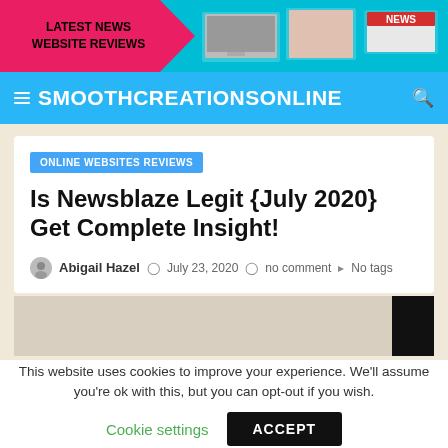[Figure (infographic): Banner advertisement: pink/red arrow shape on left with text 'LATEST NEWS WEBSITE REVIEWS' in black bold, right side teal with images of computer screen, magazine/book, and a red NEWS badge in the corner]
SMOOTHCREATIONSONLINE
ONLINE WEBSITES REVIEWS
Is Newsblaze Legit {July 2020} Get Complete Insight!
Abigail Hazel  July 23, 2020  no comment  No tags
This website uses cookies to improve your experience. We'll assume you're ok with this, but you can opt-out if you wish.
Cookie settings  ACCEPT